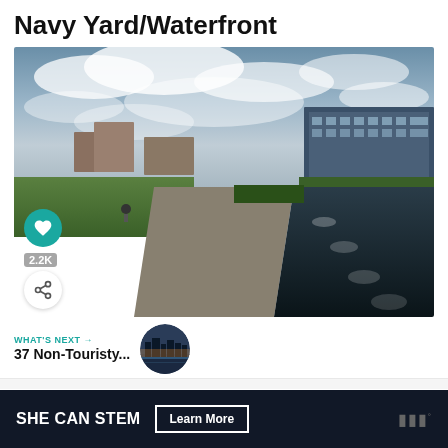Navy Yard/Waterfront
[Figure (photo): Wide-angle photo of the Navy Yard/Waterfront area in Washington DC, featuring a canal/reflecting pool with circular stepping stones, a boardwalk path, green lawns, trees, modern glass buildings on the right, brick buildings in the background, and a dramatic cloudy sky. A cyclist is visible on the left path. A teal heart/like button shows 2.2K likes, and a white share button is visible on the lower left overlay.]
WHAT'S NEXT →
37 Non-Touristy...
[Figure (photo): Small circular thumbnail image of a cityscape at dusk/night with water reflection, used as a 'What's Next' preview thumbnail.]
SHE CAN STEM   Learn More